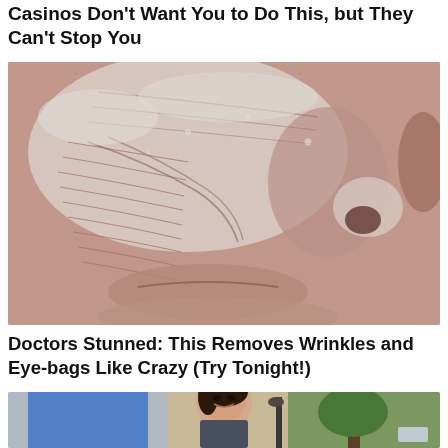Casinos Don't Want You to Do This, but They Can't Stop You
[Figure (photo): Close-up photo of an elderly person's face with heavy wrinkles and a white clay or cream mask applied to the skin. The skin texture shows deep lines across cheeks, around nose and lips.]
Doctors Stunned: This Removes Wrinkles and Eye-bags Like Crazy (Try Tonight!)
[Figure (photo): Photo of a young smiling woman with dark hair standing outdoors near a tree and a blue door. Partial image cut off at bottom.]